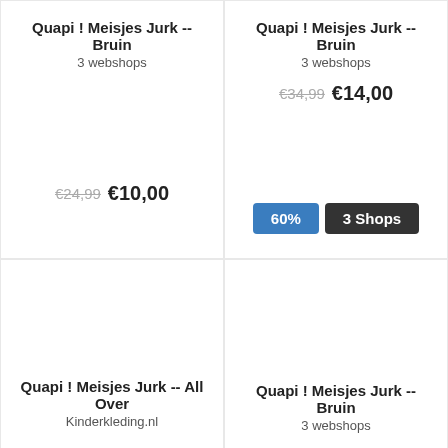Quapi ! Meisjes Jurk -- Bruin
3 webshops
€24,99  €10,00
Quapi ! Meisjes Jurk -- Bruin
3 webshops
€34,99  €14,00
60%  3 Shops
Quapi ! Meisjes Jurk -- All Over
Kinderkleding.nl
€27,99
Quapi ! Meisjes Jurk -- Bruin
3 webshops
€37,99  €15,20